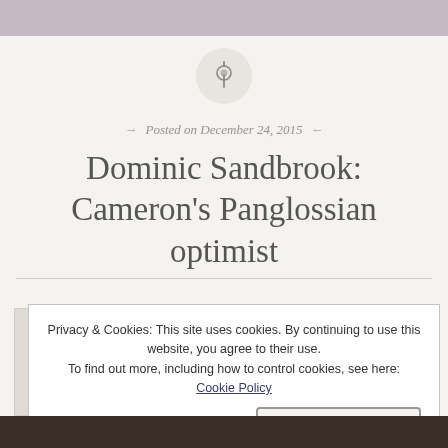[Figure (illustration): A circular pin/pushpin icon in a light gray circle]
Posted on December 24, 2015
Dominic Sandbrook: Cameron's Panglossian optimist
Privacy & Cookies: This site uses cookies. By continuing to use this website, you agree to their use.
To find out more, including how to control cookies, see here: Cookie Policy
Close and accept